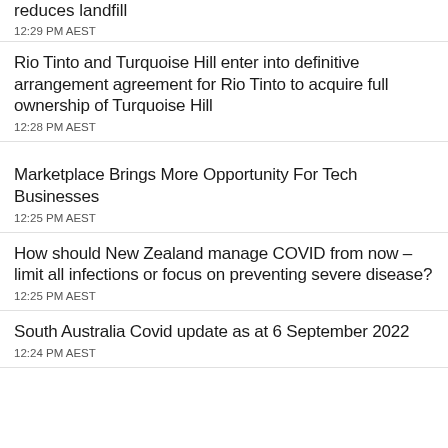reduces landfill
12:29 PM AEST
Rio Tinto and Turquoise Hill enter into definitive arrangement agreement for Rio Tinto to acquire full ownership of Turquoise Hill
12:28 PM AEST
Marketplace Brings More Opportunity For Tech Businesses
12:25 PM AEST
How should New Zealand manage COVID from now – limit all infections or focus on preventing severe disease?
12:25 PM AEST
South Australia Covid update as at 6 September 2022
12:24 PM AEST